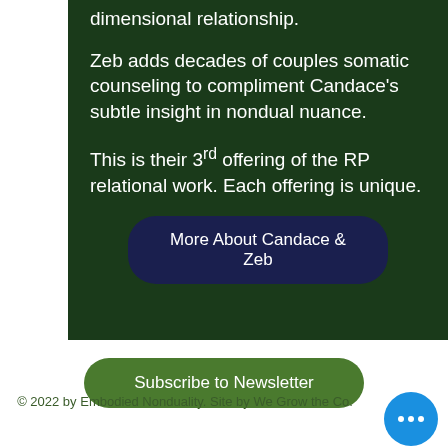dimensional relationship.
Zeb adds decades of couples somatic counseling to compliment Candace’s subtle insight in nondual nuance.
This is their 3rd offering of the RP relational work. Each offering is unique.
More About Candace & Zeb
Subscribe to Newsletter
© 2022 by Embodied Nonduality. Site by We Grow the Co.